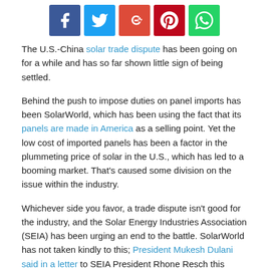[Figure (other): Social sharing buttons: Facebook, Twitter, Google+, Pinterest, WhatsApp]
The U.S.-China solar trade dispute has been going on for a while and has so far shown little sign of being settled.
Behind the push to impose duties on panel imports has been SolarWorld, which has been using the fact that its panels are made in America as a selling point. Yet the low cost of imported panels has been a factor in the plummeting price of solar in the U.S., which has led to a booming market. That's caused some division on the issue within the industry.
Whichever side you favor, a trade dispute isn't good for the industry, and the Solar Energy Industries Association (SEIA) has been urging an end to the battle. SolarWorld has not taken kindly to this; President Mukesh Dulani said in a letter to SEIA President Rhone Resch this week that SEIA leadership is